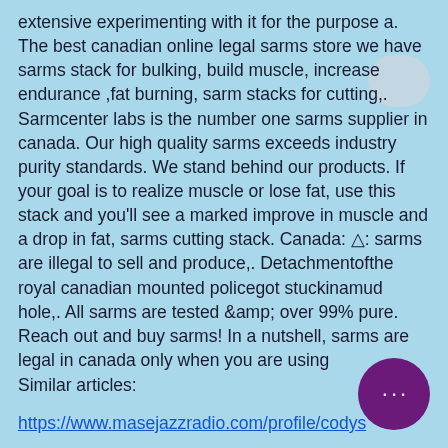extensive experimenting with it for the purpose a. The best canadian online legal sarms store we have sarms stack for bulking, build muscle, increase endurance ,fat burning, sarm stacks for cutting,. Sarmcenter labs is the number one sarms supplier in canada. Our high quality sarms exceeds industry purity standards. We stand behind our products. If your goal is to realize muscle or lose fat, use this stack and you'll see a marked improve in muscle and a drop in fat, sarms cutting stack. Canada: ⚠: sarms are illegal to sell and produce,. Detachmentofthe royal canadian mounted policegot stuckinamud hole,. All sarms are tested &amp; over 99% pure. Reach out and buy sarms! In a nutshell, sarms are legal in canada only when you are using
Similar articles:
https://www.masejazzradio.com/profile/codys